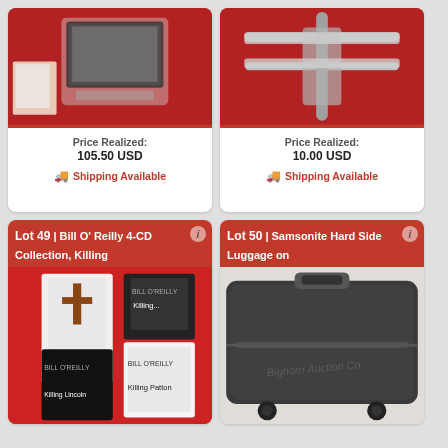[Figure (photo): Small CRT TV/VCR combo on red background with papers/books nearby]
Price Realized:
105.50 USD
Shipping Available
[Figure (photo): Chrome/metal wall-mount bracket on red background]
Price Realized:
10.00 USD
Shipping Available
Lot 49 | Bill O' Reilly 4-CD Collection, Killing
[Figure (photo): Four Bill O'Reilly books: Killing Jesus, Killing Patton, Killing Lincoln, another title, on red background]
Lot 50 | Samsonite Hard Side Luggage on
[Figure (photo): Dark gray Samsonite hard side luggage suitcase with wheels, Bighorn Auction Co. text visible]